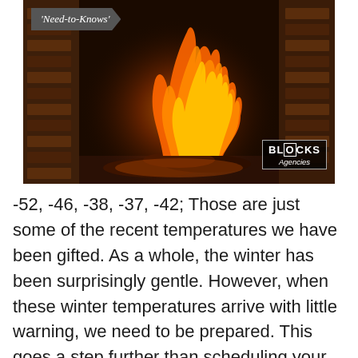[Figure (photo): A photograph of a fireplace with a roaring fire. Flames are bright orange and yellow against dark brick walls. A 'Need-to-Knows' label tag is shown in the upper left corner, and a 'Blocks Agencies' logo watermark appears in the lower right corner.]
-52, -46, -38, -37, -42; Those are just some of the recent temperatures we have been gifted. As a whole, the winter has been surprisingly gentle. However, when these winter temperatures arrive with little warning, we need to be prepared. This goes a step further than scheduling your thermostat in your home to a few